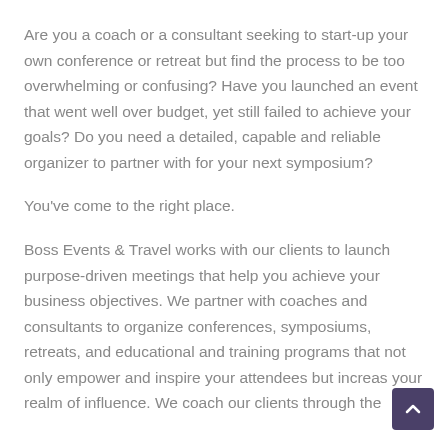Are you a coach or a consultant seeking to start-up your own conference or retreat but find the process to be too overwhelming or confusing? Have you launched an event that went well over budget, yet still failed to achieve your goals? Do you need a detailed, capable and reliable organizer to partner with for your next symposium?
You've come to the right place.
Boss Events & Travel works with our clients to launch purpose-driven meetings that help you achieve your business objectives. We partner with coaches and consultants to organize conferences, symposiums, retreats, and educational and training programs that not only empower and inspire your attendees but increas your realm of influence. We coach our clients through the